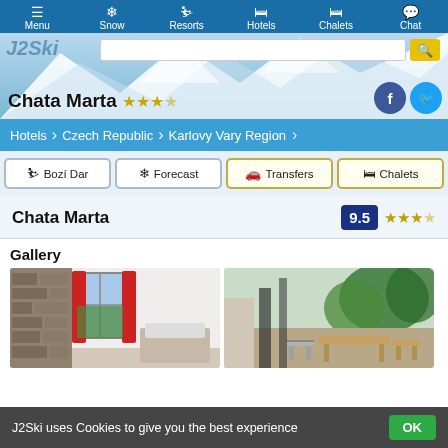Menu | Snow | Resorts | Hotels | Chalets | Chat
Chata Marta ★★★☆
Hotels > Czech Republic > Karlovy Vary Region
Bozí Dar
Forecast
Transfers
Chalets
Chata Marta    9.5 ★★★☆
Gallery
[Figure (photo): Interior hotel room with red curtains and stone wall feature]
[Figure (photo): Outdoor terrace area with wooden furniture and green trees]
J2Ski uses Cookies to give you the best experience  OK